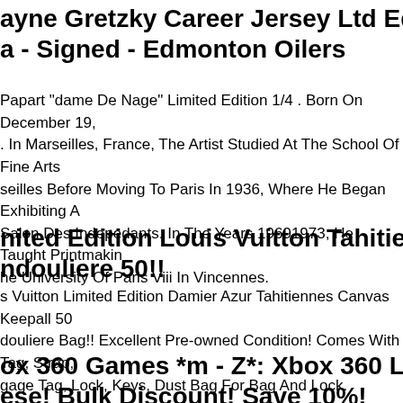Wayne Gretzky Career Jersey Ltd Edition 1/19... a - Signed - Edmonton Oilers
Papart "dame De Nage" Limited Edition 1/4 . Born On December 19, . In Marseilles, France, The Artist Studied At The School Of Fine Arts seilles Before Moving To Paris In 1936, Where He Began Exhibiting A Salon Des Indepedants. In The Years 19691973, He Taught Printmakin he University Of Paris Viii In Vincennes.
Limited Edition Louis Vuitton Tahitienne Keep... ndouliere 50!!
s Vuitton Limited Edition Damier Azur Tahitiennes Canvas Keepall 50 douliere Bag!! Excellent Pre-owned Condition! Comes With Tag, Strap, gage Tag, Lock, Keys, Dust Bag For Bag And Lock.
box 360 Games *m - Z*: Xbox 360 Lot! Low ...esal Bulk Discount! Save 10%!